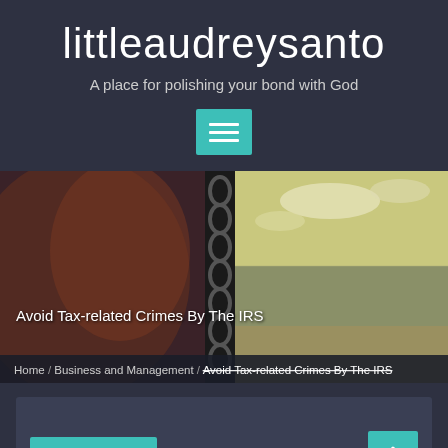littleaudreysanto
A place for polishing your bond with God
[Figure (other): Hamburger menu button with teal background]
[Figure (photo): Hero image showing rusty chains and anchor on the left, with a scenic beach/seashore view on the right under a cloudy sky. Text overlay reads 'Avoid Tax-related Crimes By The IRS'. Breadcrumb bar at bottom: Home / Business and Management / Avoid Tax-related Crimes By The IRS]
Home / Business and Management / Avoid Tax-related Crimes By The IRS
January 12,